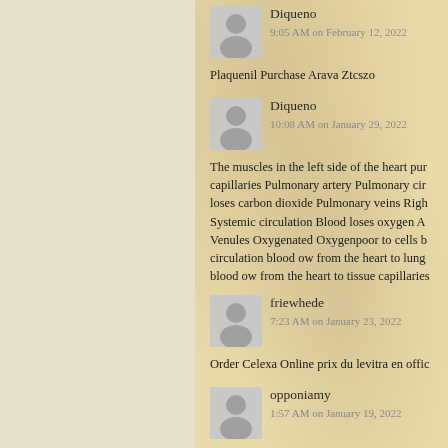[Figure (illustration): User avatar placeholder - Diqueno, silhouette icon, timestamp 9:05 AM on February 12, 2022]
Plaquenil Purchase Arava Ztcszo
[Figure (illustration): User avatar placeholder - Diqueno, silhouette icon, timestamp 10:08 AM on January 29, 2022]
The muscles in the left side of the heart pur capillaries Pulmonary artery Pulmonary cir loses carbon dioxide Pulmonary veins Righ Systemic circulation Blood loses oxygen A Venules Oxygenated Oxygenpoor to cells b circulation blood ow from the heart to lung blood ow from the heart to tissue capillaries
[Figure (illustration): User avatar placeholder - friewhede, silhouette icon, timestamp 7:23 AM on January 23, 2022]
Order Celexa Online prix du levitra en offic
[Figure (illustration): User avatar placeholder - opponiamy, silhouette icon, timestamp 1:57 AM on January 19, 2022]